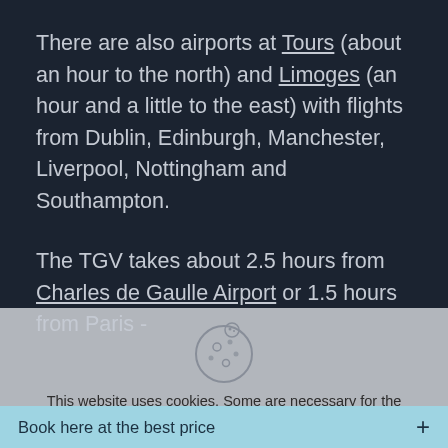There are also airports at Tours (about an hour to the north) and Limoges (an hour and a little to the east) with flights from Dublin, Edinburgh, Manchester, Liverpool, Nottingham and Southampton.
The TGV takes about 2.5 hours from Charles de Gaulle Airport or 1.5 hours from Paris -
[Figure (illustration): Cookie icon — a round cookie with chocolate chip dots, drawn as a light grey outline circle on a grey background]
This website uses cookies. Some are necessary for the operation of the website, others you can refuse if you wish. Read our privacy policy for more information.
Accept all
Book here at the best price